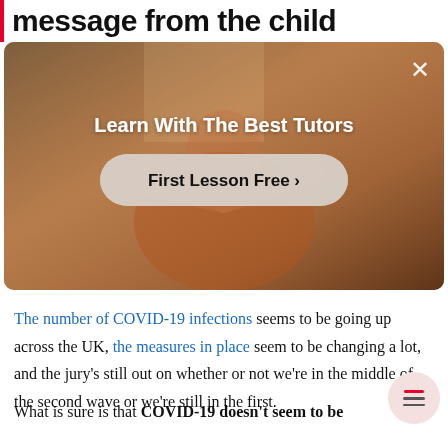message from the child
[Figure (photo): Advertisement overlay showing a person in a room with text 'Learn With The Best Tutors' and a button 'First Lesson Free >' with a close X button in top right corner]
The number of COVID-19 infections seems to be going up across the UK, the measures in place seem to be changing a lot, and the jury's still out on whether or not we're in the middle of the second wave or we're still in the first.
What is sure is that COVID-19 doesn't seem to be